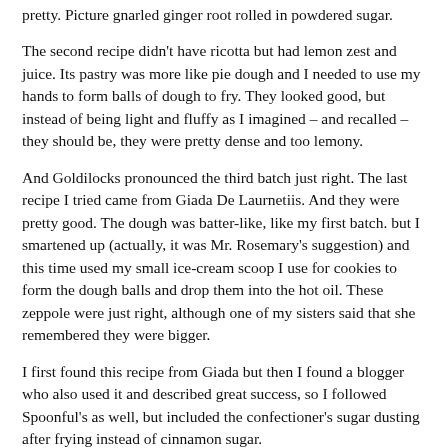pretty. Picture gnarled ginger root rolled in powdered sugar.
The second recipe didn't have ricotta but had lemon zest and juice. Its pastry was more like pie dough and I needed to use my hands to form balls of dough to fry. They looked good, but instead of being light and fluffy as I imagined – and recalled – they should be, they were pretty dense and too lemony.
And Goldilocks pronounced the third batch just right. The last recipe I tried came from Giada De Laurnetiis. And they were pretty good. The dough was batter-like, like my first batch. but I smartened up (actually, it was Mr. Rosemary's suggestion) and this time used my small ice-cream scoop I use for cookies to form the dough balls and drop them into the hot oil. These zeppole were just right, although one of my sisters said that she remembered they were bigger.
I first found this recipe from Giada but then I found a blogger who also used it and described great success, so I followed Spoonful's as well, but included the confectioner's sugar dusting after frying instead of cinnamon sugar.